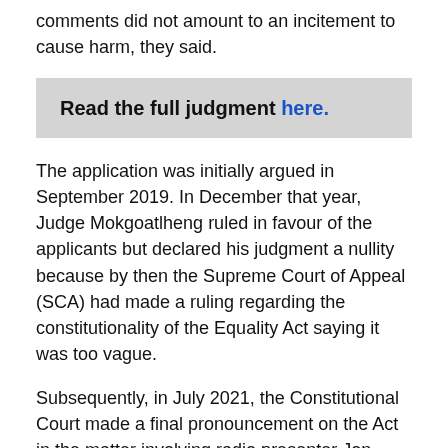comments did not amount to an incitement to cause harm, they said.
Read the full judgment here.
The application was initially argued in September 2019. In December that year, Judge Mokgoatlheng ruled in favour of the applicants but declared his judgment a nullity because by then the Supreme Court of Appeal (SCA) had made a ruling regarding the constitutionality of the Equality Act saying it was too vague.
Subsequently, in July 2021, the Constitutional Court made a final pronouncement on the Act in the matter involving radio presenter Jon Qwelane, who had made anti-gay comments in a newspaper column. The apex court partly agreed with the SCA, ruled that the expression of "unpopular and even